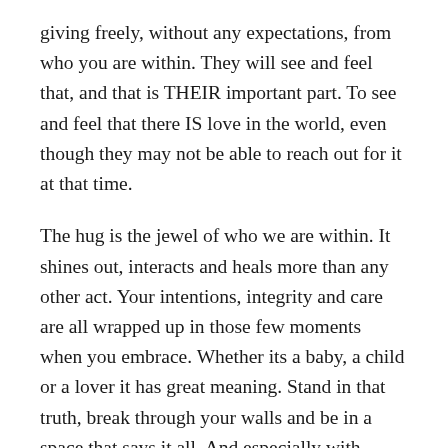giving freely, without any expectations, from who you are within. They will see and feel that, and that is THEIR important part. To see and feel that there IS love in the world, even though they may not be able to reach out for it at that time.
The hug is the jewel of who we are within. It shines out, interacts and heals more than any other act. Your intentions, integrity and care are all wrapped up in those few moments when you embrace. Whether its a baby, a child or a lover it has great meaning. Stand in that truth, break through your walls and be in a space that says it all. And especially with someone you love very much and you feel you have been bogged down by your work or troubles, just stop for a moment, and instead of the